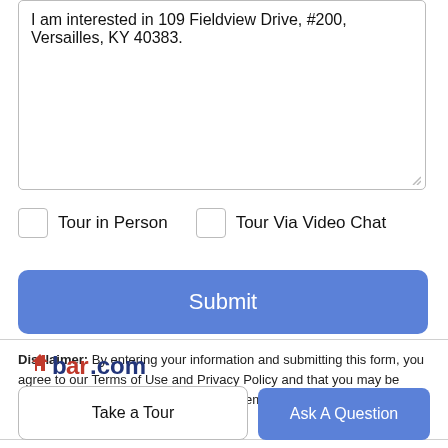I am interested in 109 Fieldview Drive, #200, Versailles, KY 40383.
Tour in Person
Tour Via Video Chat
Submit
Disclaimer: By entering your information and submitting this form, you agree to our Terms of Use and Privacy Policy and that you may be contacted by phone, text message and email about your inquiry.
[Figure (logo): lbar.com logo with red house icon and blue/red text]
Take a Tour
Ask A Question